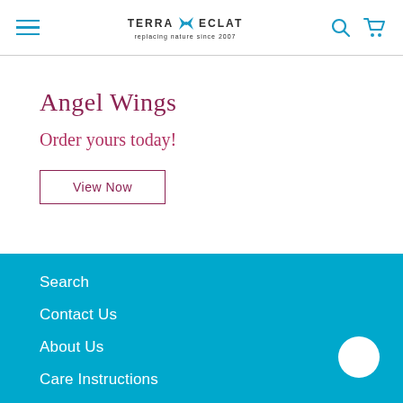TERRA ECLAT — replacing nature since 2007
Angel Wings
Order yours today!
View Now
Search
Contact Us
About Us
Care Instructions
Sizing Guide
Conservation